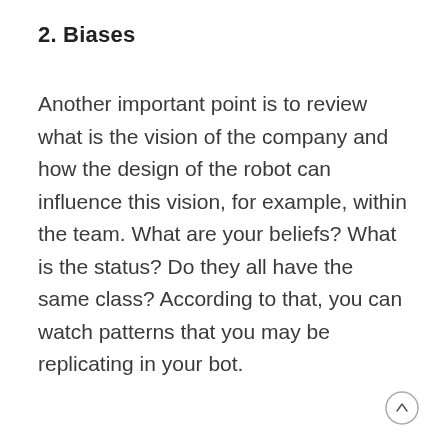2. Biases
Another important point is to review what is the vision of the company and how the design of the robot can influence this vision, for example, within the team. What are your beliefs? What is the status? Do they all have the same class? According to that, you can watch patterns that you may be replicating in your bot.